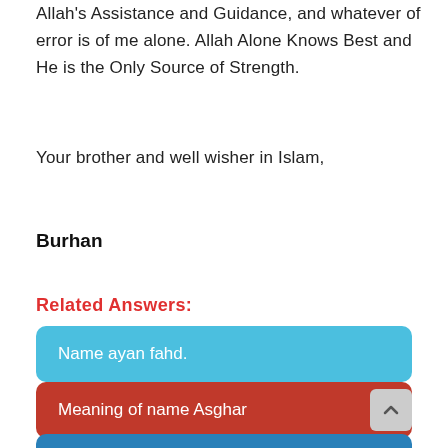Allah's Assistance and Guidance, and whatever of error is of me alone. Allah Alone Knows Best and He is the Only Source of Strength.
Your brother and well wisher in Islam,
Burhan
Related Answers:
Name ayan fahd.
Meaning of name Asghar
Please let me the meaning of word "Ausaaf"